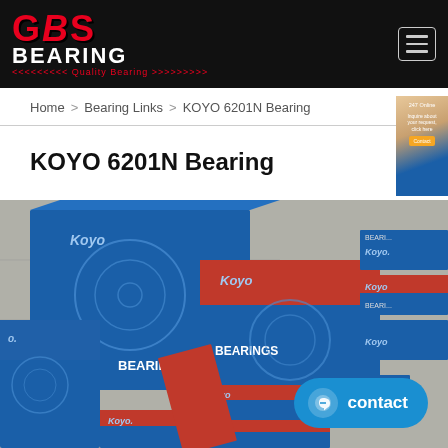GBS BEARING — Quality Bearing
Home > Bearing Links > KOYO 6201N Bearing
KOYO 6201N Bearing
[Figure (photo): Photograph of multiple Koyo brand bearing boxes stacked on a tiled floor, showing blue and red packaging with 'Koyo BEARINGS' text printed on the boxes]
contact